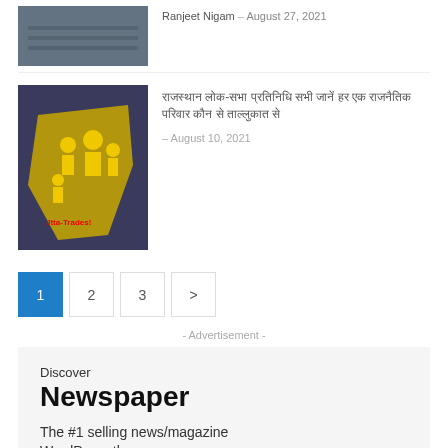Ranjeet Nigam – August 27, 2021
[Figure (photo): Top article thumbnail showing industrial/port scene from above]
[Figure (photo): Article thumbnail showing yellow illustrated figures on map of India with text 'Jtta-Trades!']
राजस्थान लोक-सभा प्रतिनिधि सभी जानें हर एक राजनैतिक परिवार कौन से ताल्लुकात से
– August 10, 2021
1  2  3  >
- Advertisement -
Discover
Newspaper
The #1 selling news/magazine WordPress theme
300 X 250 AD